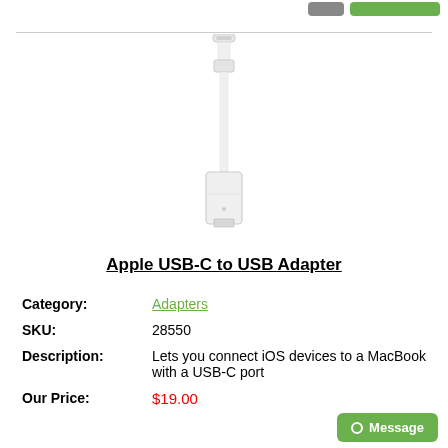[Figure (photo): Apple USB-C to USB Adapter product image — white cable adapter with USB-C connector on top and USB-A port on bottom]
Apple USB-C to USB Adapter
Category: Adapters
SKU: 28550
Description: Lets you connect iOS devices to a MacBook with a USB-C port
Our Price: $19.00